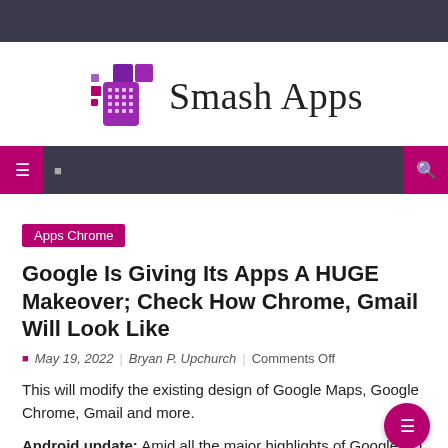[Figure (logo): Smash Apps logo with purple pixel/grid icon and serif text 'Smash Apps']
Apps Chrome navigation bar with search icon
Apps Chrome
Google Is Giving Its Apps A HUGE Makeover; Check How Chrome, Gmail Will Look Like
May 19, 2022  |  Bryan P. Upchurch  |  Comments Off
This will modify the existing design of Google Maps, Google Chrome, Gmail and more.
Android update: Amid all the major highlights of Google I/O...